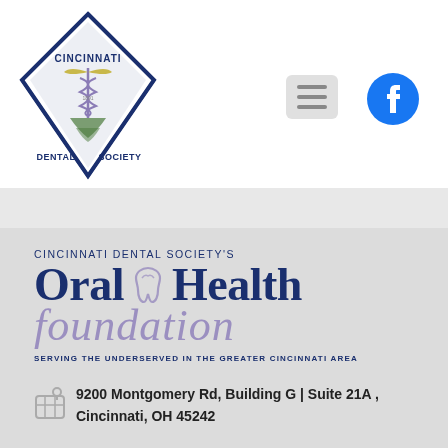[Figure (logo): Cincinnati Dental Society diamond-shaped logo with serpent and dental imagery]
[Figure (other): Hamburger menu icon (three horizontal bars) in a rounded gray box]
[Figure (logo): Facebook circular logo icon in dark blue]
CINCINNATI DENTAL SOCIETY'S Oral Health foundation
SERVING THE UNDERSERVED IN THE GREATER CINCINNATI AREA
9200 Montgomery Rd, Building G | Suite 21A , Cincinnati, OH 45242